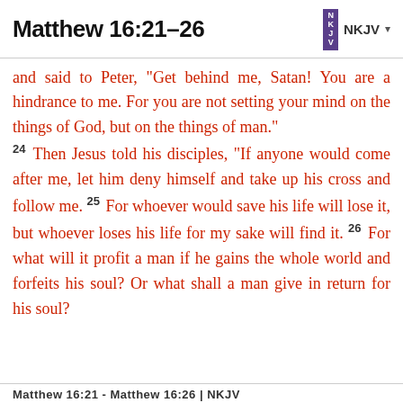Matthew 16:21–26 NKJV
and said to Peter, “Get behind me, Satan! You are a hindrance to me. For you are not setting your mind on the things of God, but on the things of man.” 24 Then Jesus told his disciples, “If anyone would come after me, let him deny himself and take up his cross and follow me. 25 For whoever would save his life will lose it, but whoever loses his life for my sake will find it. 26 For what will it profit a man if he gains the whole world and forfeits his soul? Or what shall a man give in return for his soul?
Matthew 16:21 - Matthew 16:26 | NKJV